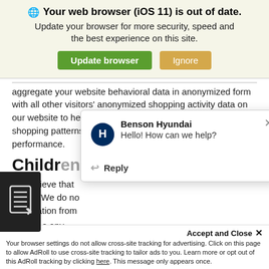[Figure (screenshot): Browser update notification banner with globe icon, bold title 'Your web browser (iOS 11) is out of date.', subtitle text, green 'Update browser' button and tan 'Ignore' button]
aggregate your website behavioral data in anonymized form with all other visitors' anonymized shopping activity data on our website to help us analyze industry trends, general shopping patterns, overall consumer demands, and website performance.
Children
We believe that online. We do not information from
e any per third part years old. No information should be submitted to or posted by
visitors younger than 13 years old.
[Figure (screenshot): Benson Hyundai chat popup with logo, 'Hello! How can we help?' message and Reply button]
[Figure (screenshot): Dark background cookie/tracking icon bar on left side]
Accept and Close ×
Your browser settings do not allow cross-site tracking for advertising. Click on this page to allow AdRoll to use cross-site tracking to tailor ads to you. Learn more or opt out of this AdRoll tracking by clicking here. This message only appears once.